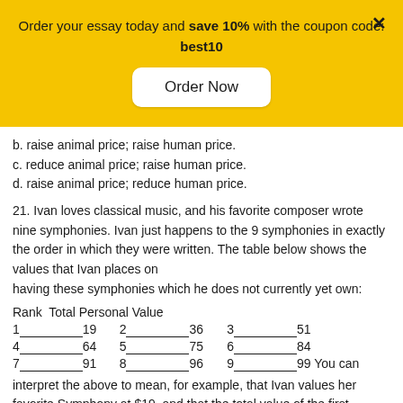Order your essay today and save 10% with the coupon code: best10
Order Now
b. raise animal price; raise human price.
c. reduce animal price; raise human price.
d. raise animal price; reduce human price.
21. Ivan loves classical music, and his favorite composer wrote nine symphonies. Ivan just happens to the 9 symphonies in exactly the order in which they were written. The table below shows the values that Ivan places on having these symphonies which he does not currently yet own:
| Rank | Total Personal Value |
| --- | --- |
| 1 | 19 | 2 | 36 | 3 | 51 |
| 4 | 64 | 5 | 75 | 6 | 84 |
| 7 | 91 | 8 | 96 | 9 | 99 |
You can interpret the above to mean, for example, that Ivan values her favorite Symphony at $19, and that the total value of the first